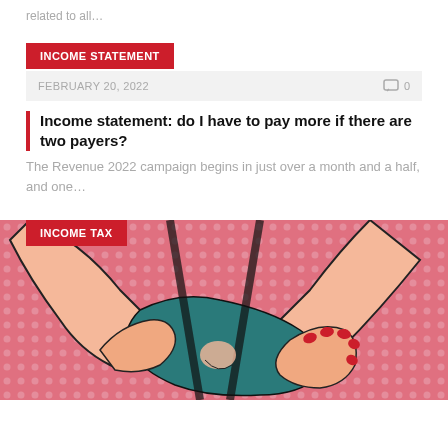related to all…
INCOME STATEMENT
FEBRUARY 20, 2022
0
Income statement: do I have to pay more if there are two payers?
The Revenue 2022 campaign begins in just over a month and a half, and one…
INCOME TAX
[Figure (illustration): Pop-art style illustration showing hands wringing or squeezing fabric, with red polished fingernails, set against a pink halftone background]